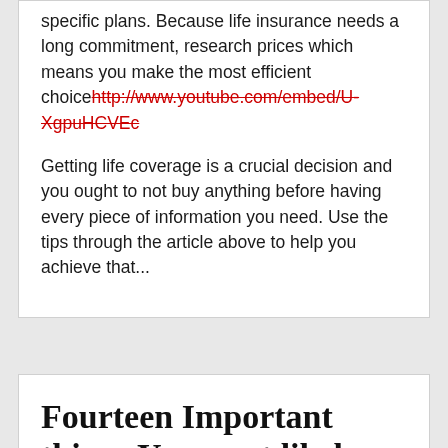specific plans. Because life insurance needs a long commitment, research prices which means you make the most efficient choicehttp://www.youtube.com/embed/U-XgpuHCVEc
Getting life coverage is a crucial decision and you ought to not buy anything before having every piece of information you need. Use the tips through the article above to help you achieve that...
Fourteen Important things You most likely Didn't Understand about The best fleming island chiropractor doctor